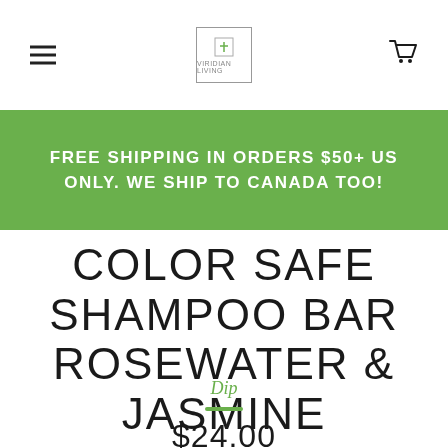COLOR SAFE SHAMPOO BAR ROSEWATER & JASMINE
FREE SHIPPING IN ORDERS $50+ US ONLY. WE SHIP TO CANADA TOO!
COLOR SAFE SHAMPOO BAR ROSEWATER & JASMINE
Dip
$24.00